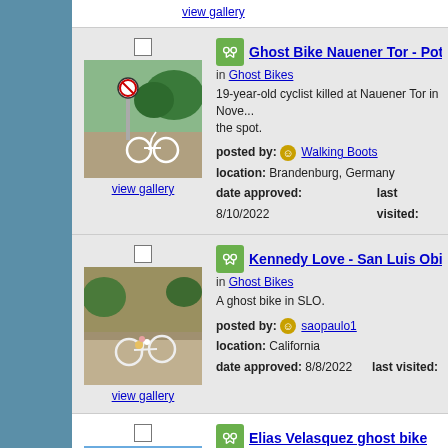view gallery
[Figure (photo): Ghost bike (white bicycle) at Nauener Tor, Potsdam, with a no-parking sign and trees in background]
view gallery
Ghost Bike Nauener Tor - Potsdam
in Ghost Bikes
19-year-old cyclist killed at Nauener Tor in November... the spot.
posted by: Walking Boots
location: Brandenburg, Germany
date approved: 8/10/2022   last visited:
[Figure (photo): Ghost bike lying on sidewalk with memorial items in San Luis Obispo]
view gallery
Kennedy Love - San Luis Obispo, C
in Ghost Bikes
A ghost bike in SLO.
posted by: saopaulo1
location: California
date approved: 8/8/2022   last visited:
[Figure (photo): Partial view of Elias Velasquez ghost bike memorial with trees and blue sky]
Elias Velasquez ghost bike